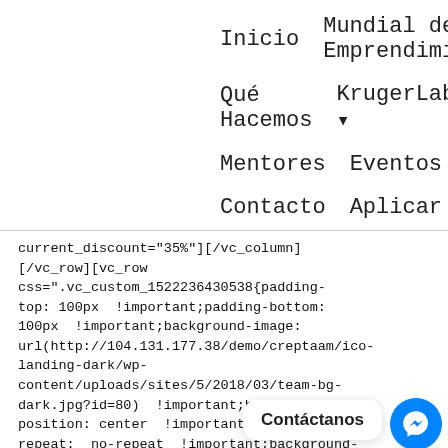Inicio   Mundial de Emprendimiento
Qué Hacemos   KrugerLabs ▾
Mentores   Eventos   Blog
Contacto   Aplicar
current_discount="35%"][/vc_column][/vc_row][vc_row css=".vc_custom_1522236430538{padding-top: 100px !important;padding-bottom: 100px !important;background-image: url(http://104.131.177.38/demo/creptaam/ico-landing-dark/wp-content/uploads/sites/5/2018/03/team-bg-dark.jpg?id=80) !important;background-position: center !important;background-repeat: no-repeat !important;background-size: cover !important;[vc_column][tt_section_title title_alignment="text-center" title_color_option="custom_color"
Contáctanos